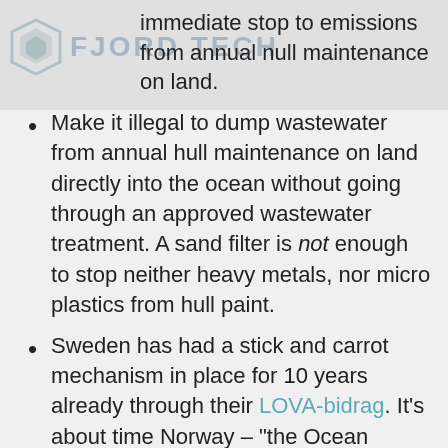FJORD TECH
immediate stop to emissions from annual null maintenance on land.
Make it illegal to dump wastewater from annual hull maintenance on land directly into the ocean without going through an approved wastewater treatment. A sand filter is not enough to stop neither heavy metals, nor micro plastics from hull paint.
Sweden has had a stick and carrot mechanism in place for 10 years already through their LOVA-bidrag. It's about time Norway – “the Ocean Nation” puts their money where their mouth is, and become a green leader in this field. A bold and